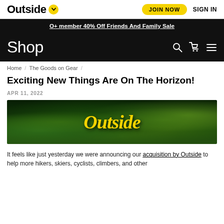Outside [logo] | JOIN NOW | SIGN IN
O+ member 40% Off Friends And Family Sale
Shop
Home / The Goods on Gear /
Exciting New Things Are On The Horizon!
APR 11, 2022
[Figure (photo): Aerial view of dense green forest with the word 'Outside' in large yellow italic text overlaid in the center]
It feels like just yesterday we were announcing our acquisition by Outside to help more hikers, skiers, cyclists, climbers, and other